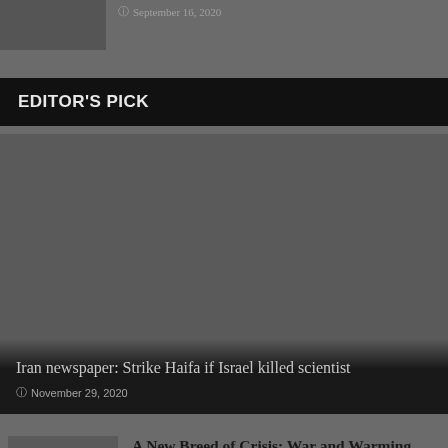[Figure (photo): Thumbnail image of an article, dark/greyscale]
September 16, 2020
EDITOR'S PICK
[Figure (photo): Large featured image with dark overlay, related to Iran newspaper article]
Iran newspaper: Strike Haifa if Israel killed scientist
November 29, 2020
[Figure (photo): Thumbnail image for Afghanistan article]
A New Breed of Crisis: War and Warming Collide in Afghanistan
August 30, 2021